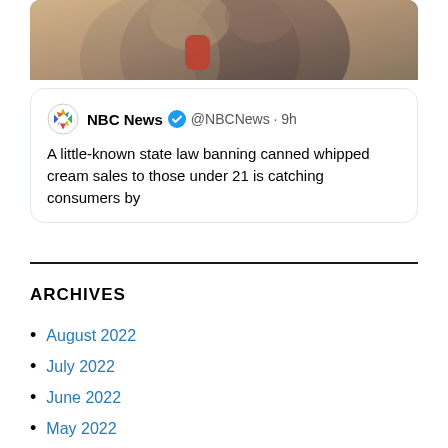[Figure (photo): Partial photo of an animal (appears to be a cat or small mammal) cropped at top of page]
NBC News @NBCNews · 9h
A little-known state law banning canned whipped cream sales to those under 21 is catching consumers by surprise it seems from hitting
ARCHIVES
August 2022
July 2022
June 2022
May 2022